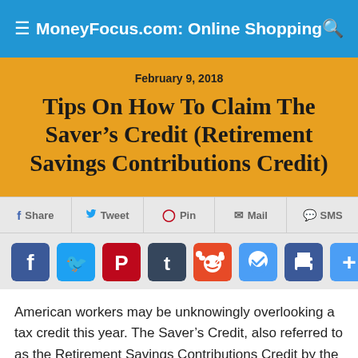MoneyFocus.com: Online Shopping
February 9, 2018
Tips On How To Claim The Saver’s Credit (Retirement Savings Contributions Credit)
[Figure (other): Social share bar with Share, Tweet, Pin, Mail, SMS buttons]
[Figure (other): Social media icon buttons: Facebook, Twitter, Pinterest, Tumblr, Reddit, Messenger, Print, More]
American workers may be unknowingly overlooking a tax credit this year. The Saver’s Credit, also referred to as the Retirement Savings Contributions Credit by the